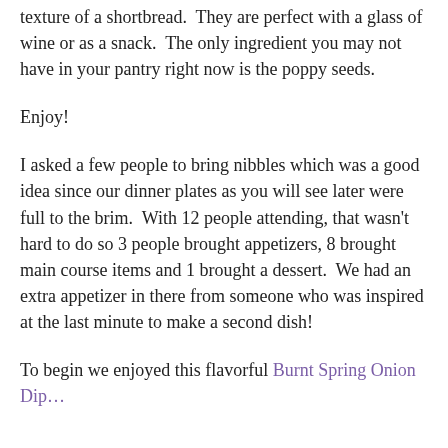texture of a shortbread.  They are perfect with a glass of wine or as a snack.  The only ingredient you may not have in your pantry right now is the poppy seeds.
Enjoy!
I asked a few people to bring nibbles which was a good idea since our dinner plates as you will see later were full to the brim.  With 12 people attending, that wasn't hard to do so 3 people brought appetizers, 8 brought main course items and 1 brought a dessert.  We had an extra appetizer in there from someone who was inspired at the last minute to make a second dish!
To begin we enjoyed this flavorful Burnt Spring Onion Dip…